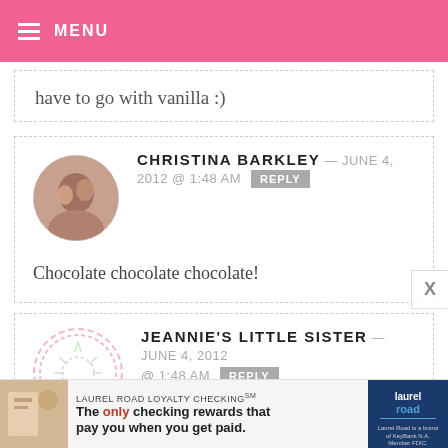MENU
have to go with vanilla :)
CHRISTINA BARKLEY — JUNE 4, 2012 @ 1:48 AM  REPLY
Chocolate chocolate chocolate!
JEANNIE'S LITTLE SISTER — JUNE 4, 2012 @ 1:48 AM  REPLY
Chocolate!
[Figure (other): Advertisement banner: LAUREL ROAD LOYALTY CHECKING. The only checking rewards that pay you when you get paid. Laurel Road logo.]